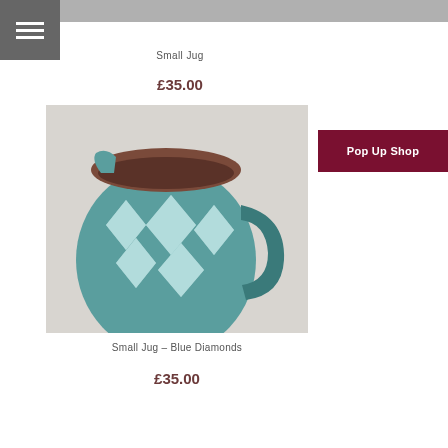Small Jug
£35.00
[Figure (photo): A ceramic small jug with teal/blue glaze and white diamond pattern, brown interior, with a dark handle, photographed on a light background.]
Pop Up Shop
Small Jug – Blue Diamonds
£35.00